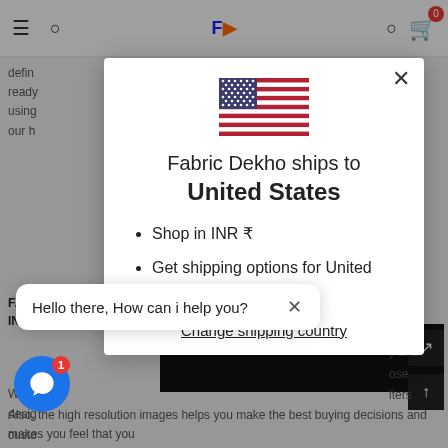Fabric Dekho - navigation bar with hamburger menu, search icon, logo, cart icon showing 0
defin... get ready... ts using... om our h...
FABR... INDI...
We u... desig... custo... home... this e... ence,
[Figure (screenshot): Modal dialog overlay on Fabric Dekho website showing US flag, shipping destination information, bullet points for INR currency and United States shipping options, and a change shipping country link]
Hello there, How can i help you?
With i... y and ose lters
Also, the high resolution images helps you make the best buying decisions and makes you feel that you